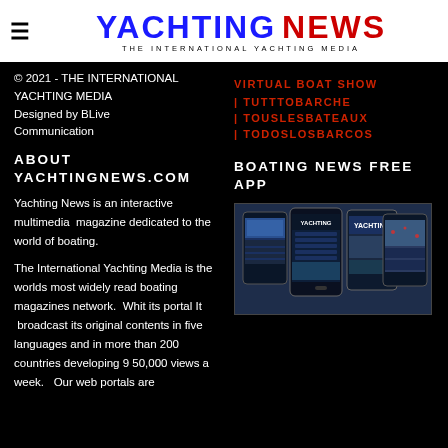YACHTING NEWS — THE INTERNATIONAL YACHTING MEDIA
© 2021 - THE INTERNATIONAL YACHTING MEDIA
Designed by BLive Communication
VIRTUAL BOAT SHOW
| TUTTTOBARCHE
| TOUSLESBATEAUX
| TODOSLOSBARCOS
ABOUT YACHTINGNEWS.COM
BOATING NEWS FREE APP
Yachting News is an interactive multimedia  magazine dedicated to the world of boating.
[Figure (screenshot): App mockup showing multiple smartphone screens with Yachting News application interface]
The International Yachting Media is the worlds most widely read boating magazines network.  Whit its portal It  broadcast its original contents in five languages and in more than 200 countries developing 9 50,000 views a week.   Our web portals are